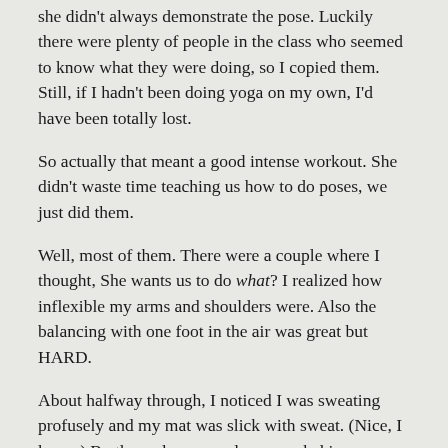she didn't always demonstrate the pose.  Luckily there were plenty of people in the class who seemed to know what they were doing, so I copied them.  Still, if I hadn't been doing yoga on my own, I'd have been totally lost.
So actually that meant a good intense workout.  She didn't waste time teaching us how to do poses, we just did them.
Well, most of them.  There were a couple where I thought, She wants us to do what?  I realized how inflexible my arms and shoulders were.  Also the balancing with one foot in the air was great but HARD.
About halfway through, I noticed I was sweating profusely and my mat was slick with sweat.  (Nice, I know.)  By the end my muscles were shaking.